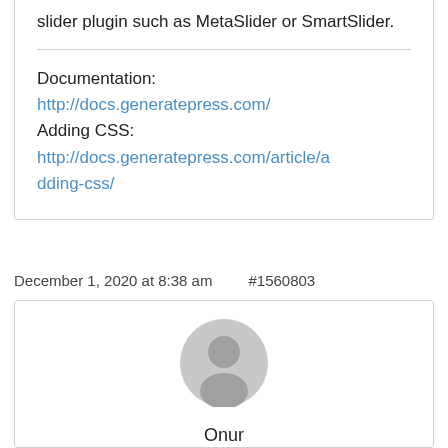slider plugin such as MetaSlider or SmartSlider.
Documentation:
http://docs.generatepress.com/
Adding CSS:
http://docs.generatepress.com/article/adding-css/
December 1, 2020 at 8:38 am  #1560803
[Figure (illustration): Gray circular user avatar icon with silhouette of a person]
Onur